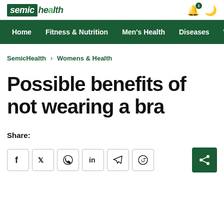semic health — navigation header with bell icon and moon icon
Home  Fitness & Nutrition  Men's Health  Diseases  Women'
SemicHealth › Womens & Health
Possible benefits of not wearing a bra
Share:
[Figure (other): Social share buttons: Facebook, Twitter, WhatsApp, LinkedIn, Telegram, Reddit, and a green share icon button]